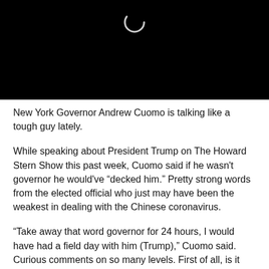[Figure (screenshot): Black video player area with a circular loading/buffering spinner icon centered near the top]
New York Governor Andrew Cuomo is talking like a tough guy lately.
While speaking about President Trump on The Howard Stern Show this past week, Cuomo said if he wasn't governor he would've “decked him.” Pretty strong words from the elected official who just may have been the weakest in dealing with the Chinese coronavirus.
“Take away that word governor for 24 hours, I would have had a field day with him (Trump),” Cuomo said. Curious comments on so many levels. First of all, is it really a big accomplishment or